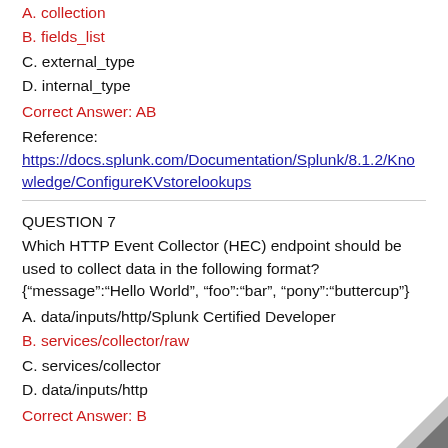A. collection
B. fields_list
C. external_type
D. internal_type
Correct Answer: AB
Reference:
https://docs.splunk.com/Documentation/Splunk/8.1.2/Knowledge/ConfigureKVstorelookups
QUESTION 7
Which HTTP Event Collector (HEC) endpoint should be used to collect data in the following format? {"message":"Hello World", "foo":"bar", "pony":"buttercup"}
A. data/inputs/http/Splunk Certified Developer
B. services/collector/raw
C. services/collector
D. data/inputs/http
Correct Answer: B